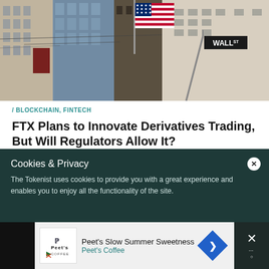[Figure (photo): Wall Street street view photo showing skyscrapers, an American flag, and a Wall St street sign]
/ BLOCKCHAIN, FINTECH
FTX Plans to Innovate Derivatives Trading, But Will Regulators Allow It?
Cookies & Privacy
The Tokenist uses cookies to provide you with a great experience and enables you to enjoy all the functionality of the site.
[Figure (other): Peet's Coffee advertisement banner: Peet's Slow Summer Sweetness / Peet's Coffee with logo and directional arrow icon]